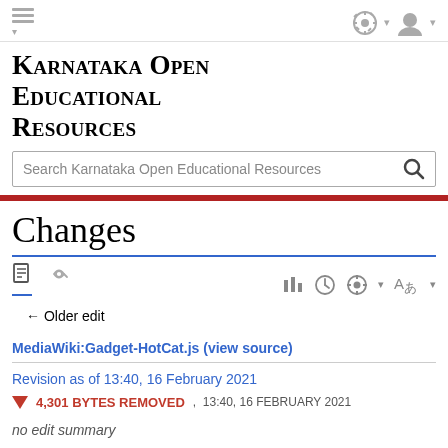Karnataka Open Educational Resources
Changes
← Older edit
MediaWiki:Gadget-HotCat.js (view source)
Revision as of 13:40, 16 February 2021
4,301 BYTES REMOVED , 13:40, 16 FEBRUARY 2021
no edit summary